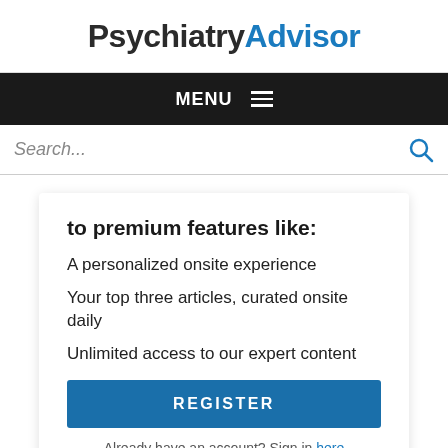PsychiatryAdvisor
MENU
Search...
to premium features like:
A personalized onsite experience
Your top three articles, curated onsite daily
Unlimited access to our expert content
REGISTER
Already have an account? Sign in here
Popular in Psychiatry
[Figure (photo): Thumbnail image strip at bottom of page]